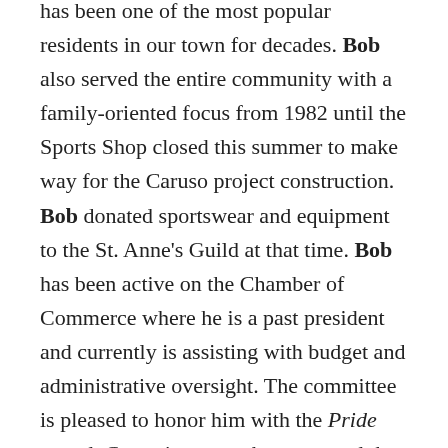has been one of the most popular residents in our town for decades. Bob also served the entire community with a family-oriented focus from 1982 until the Sports Shop closed this summer to make way for the Caruso project construction. Bob donated sportswear and equipment to the St. Anne's Guild at that time. Bob has been active on the Chamber of Commerce where he is a past president and currently is assisting with budget and administrative oversight. The committee is pleased to honor him with the Pride award. Committee members stressed that they appreciated the opportunity to honor a businessman at a time when it's really hard going for retail businesses in the Palisades.
The Awards will be handed out at the annual holiday